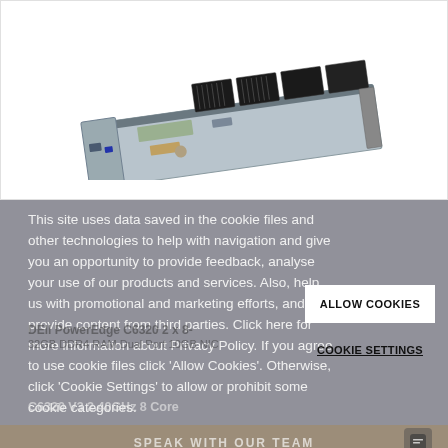[Figure (photo): Photo of a Dell PowerEdge server blade/module — a long rectangular circuit board with black heatsinks and connectors, shown at an angle on white background.]
This site uses data saved in the cookie files and other technologies to help with navigation and give you an opportunity to provide feedback, analyse your use of our products and services. Also, help us with promotional and marketing efforts, and provide content from third parties. Click here for more information about Privacy Policy. If you agree to use cookie files click 'Allow Cookies'. Otherwise, click 'Cookie Settings' to allow or prohibit some cookie categories.
ALLOW COOKIES
COOKIE SETTINGS
DEll PowerEdge C6320 2 x 8-
32GB DDR4 RAM Dual Port 10GB NIC
C6320 V3 2.40GHz 8 Core
SPEAK WITH OUR TEAM